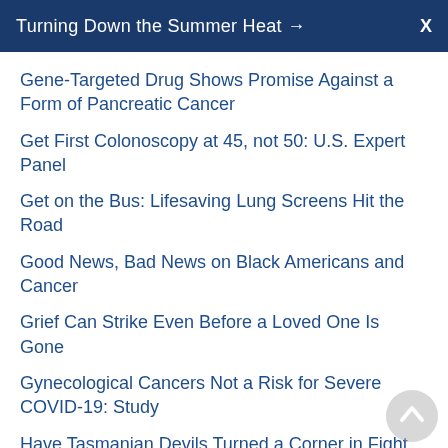Turning Down the Summer Heat → X
Gene-Targeted Drug Shows Promise Against a Form of Pancreatic Cancer
Get First Colonoscopy at 45, not 50: U.S. Expert Panel
Get on the Bus: Lifesaving Lung Screens Hit the Road
Good News, Bad News on Black Americans and Cancer
Grief Can Strike Even Before a Loved One Is Gone
Gynecological Cancers Not a Risk for Severe COVID-19: Study
Have Tasmanian Devils Turned a Corner in Fight Against Cancer?
Having Even a Cousin or Grandparent With Colon Cancer Raises Your Risk: Study